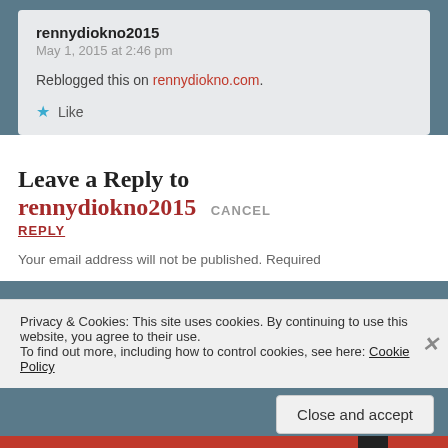rennydiokno2015
May 1, 2015 at 2:46 pm
Reblogged this on rennydiokno.com.
Like
Leave a Reply to rennydiokno2015 CANCEL REPLY
Your email address will not be published. Required
Privacy & Cookies: This site uses cookies. By continuing to use this website, you agree to their use.
To find out more, including how to control cookies, see here: Cookie Policy
Close and accept